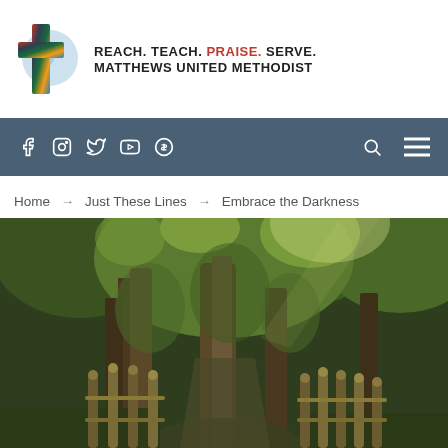[Figure (logo): Matthews United Methodist Church logo with colorful cross and globe, tagline REACH. TEACH. PRAISE. SERVE. MATTHEWS UNITED METHODIST]
[Figure (screenshot): Dark blue navigation bar with social media icons: Facebook, Instagram, Twitter, YouTube, and a donation/envelope icon, plus search and hamburger menu icons on the right]
Home → Just These Lines → Embrace the Darkness
[Figure (photo): Forest path with tall trees covered in ivy/greenery, with iron fence posts on either side, dark atmospheric woodland scene]